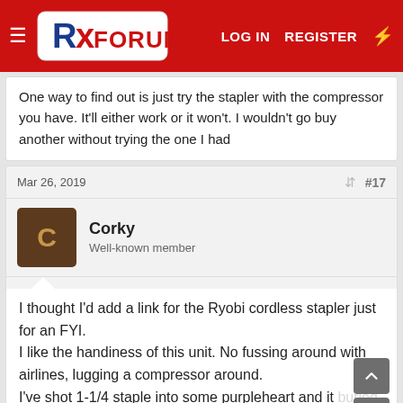RX Forum — LOG IN  REGISTER
One way to find out is just try the stapler with the compressor you have. It'll either work or it won't. I wouldn't go buy another without trying the one I had
Mar 26, 2019  #17
Corky
Well-known member
I thought I'd add a link for the Ryobi cordless stapler just for an FYI.
I like the handiness of this unit. No fussing around with airlines, lugging a compressor around.
I've shot 1-1/4 staple into some purpleheart and it buried the staple, plenty of power.